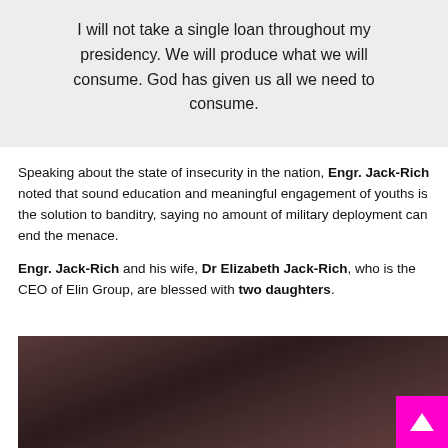I will not take a single loan throughout my presidency. We will produce what we will consume. God has given us all we need to consume.
Speaking about the state of insecurity in the nation, Engr. Jack-Rich noted that sound education and meaningful engagement of youths is the solution to banditry, saying no amount of military deployment can end the menace.
Engr. Jack-Rich and his wife, Dr Elizabeth Jack-Rich, who is the CEO of Elin Group, are blessed with two daughters.
[Figure (photo): A dark photograph showing blurred figures or subjects in dim lighting with warm brownish-red tones.]